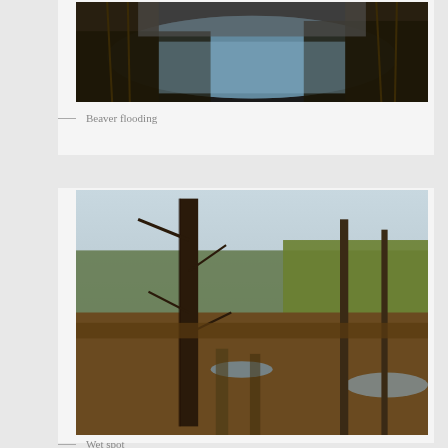[Figure (photo): Aerial or close-up view of beaver flooding — dark water surrounded by reeds and vegetation]
— Beaver flooding
[Figure (photo): Wet forest scene with dead standing trees, sparse undergrowth, and shallow water patches visible — labeled as a wet spot]
— Wet spot